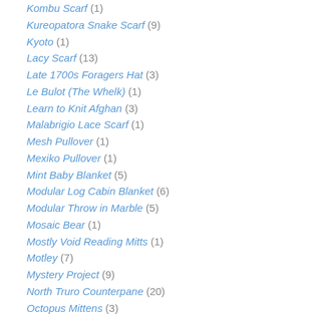Kombu Scarf (1)
Kureopatora Snake Scarf (9)
Kyoto (1)
Lacy Scarf (13)
Late 1700s Foragers Hat (3)
Le Bulot (The Whelk) (1)
Learn to Knit Afghan (3)
Malabrigio Lace Scarf (1)
Mesh Pullover (1)
Mexiko Pullover (1)
Mint Baby Blanket (5)
Modular Log Cabin Blanket (6)
Modular Throw in Marble (5)
Mosaic Bear (1)
Mostly Void Reading Mitts (1)
Motley (7)
Mystery Project (9)
North Truro Counterpane (20)
Octopus Mittens (3)
OpArt Baby Blanket (5)